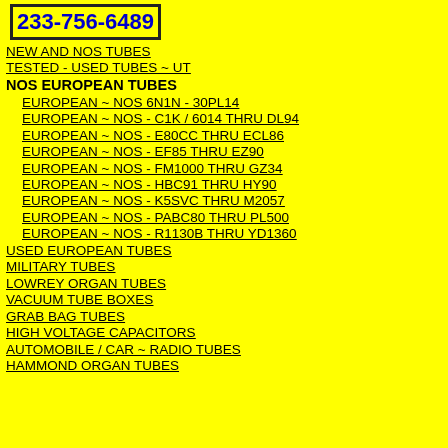[Figure (other): Phone number banner: 233-756-6489 in blue bold text inside a bordered yellow box]
NEW AND NOS TUBES
TESTED - USED TUBES ~ UT
NOS EUROPEAN TUBES
EUROPEAN ~ NOS 6N1N - 30PL14
EUROPEAN ~ NOS - C1K / 6014 THRU DL94
EUROPEAN ~ NOS - E80CC THRU ECL86
EUROPEAN ~ NOS - EF85 THRU EZ90
EUROPEAN ~ NOS - FM1000 THRU GZ34
EUROPEAN ~ NOS - HBC91 THRU HY90
EUROPEAN ~ NOS - K5SVC THRU M2057
EUROPEAN ~ NOS - PABC80 THRU PL500
EUROPEAN ~ NOS - R1130B THRU YD1360
USED EUROPEAN TUBES
MILITARY TUBES
LOWREY ORGAN TUBES
VACUUM TUBE BOXES
GRAB BAG TUBES
HIGH VOLTAGE CAPACITORS
AUTOMOBILE / CAR ~ RADIO TUBES
HAMMOND ORGAN TUBES